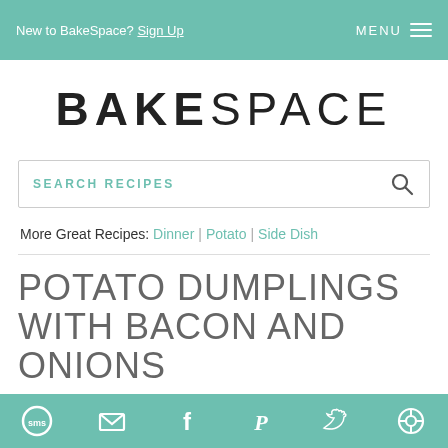New to BakeSpace? Sign Up    MENU
BAKESPACE
SEARCH RECIPES
More Great Recipes: Dinner | Potato | Side Dish
POTATO DUMPLINGS WITH BACON AND ONIONS
SMS | Email | Facebook | Pinterest | Twitter | Other